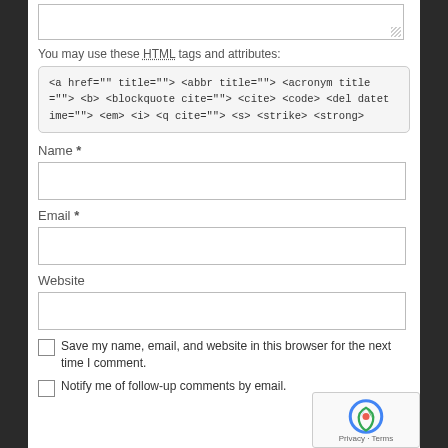[Figure (screenshot): Textarea input stub at top of page]
You may use these HTML tags and attributes:
<a href="" title=""> <abbr title=""> <acronym title =""> <b> <blockquote cite=""> <cite> <code> <del datet ime=""> <em> <i> <q cite=""> <s> <strike> <strong>
Name *
[Figure (screenshot): Name input field]
Email *
[Figure (screenshot): Email input field]
Website
[Figure (screenshot): Website input field]
Save my name, email, and website in this browser for the next time I comment.
Notify me of follow-up comments by email.